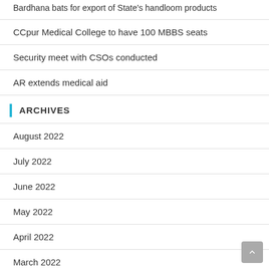Bardhana bats for export of State's handloom products
CCpur Medical College to have 100 MBBS seats
Security meet with CSOs conducted
AR extends medical aid
ARCHIVES
August 2022
July 2022
June 2022
May 2022
April 2022
March 2022
February 2022